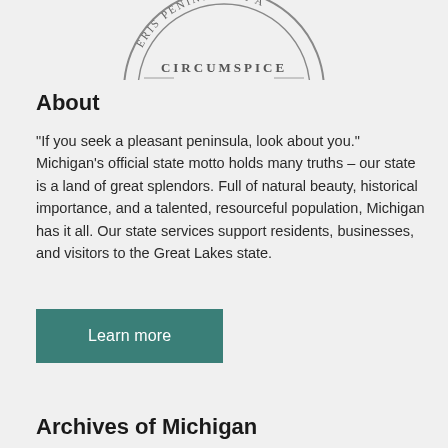[Figure (illustration): Partial Michigan state seal showing circular text 'PENINSULAM' and 'CIRCUMSPICE' at bottom, rendered in gray ink stamp style]
About
“If you seek a pleasant peninsula, look about you.” Michigan’s official state motto holds many truths – our state is a land of great splendors. Full of natural beauty, historical importance, and a talented, resourceful population, Michigan has it all. Our state services support residents, businesses, and visitors to the Great Lakes state.
Learn more
Archives of Michigan